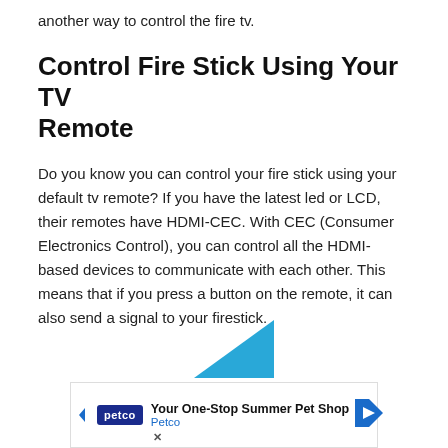another way to control the fire tv.
Control Fire Stick Using Your TV Remote
Do you know you can control your fire stick using your default tv remote? If you have the latest led or LCD, their remotes have HDMI-CEC. With CEC (Consumer Electronics Control), you can control all the HDMI-based devices to communicate with each other. This means that if you press a button on the remote, it can also send a signal to your firestick.
[Figure (illustration): Partial blue triangle shape visible above advertisement banner]
[Figure (other): Petco advertisement banner: 'Your One-Stop Summer Pet Shop' with Petco logo and navigation arrows]